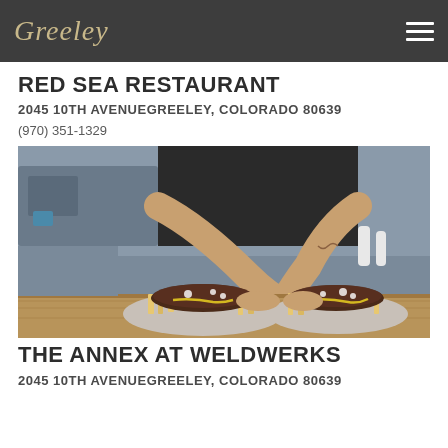Greeley
RED SEA RESTAURANT
2045 10TH AVENUEGREELEY, COLORADO 80639
(970) 351-1329
[Figure (photo): A kitchen worker in a dark apron reaching across a counter to present two plates loaded with chili cheese fries topped with ground meat, mustard, and diced onions in a restaurant kitchen setting.]
THE ANNEX AT WELDWERKS
2045 10TH AVENUEGREELEY, COLORADO 80639